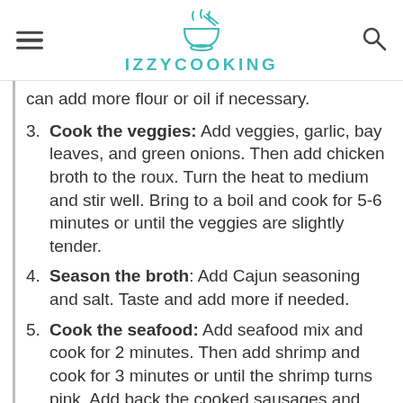IZZYCOOKING
can add more flour or oil if necessary.
3. Cook the veggies: Add veggies, garlic, bay leaves, and green onions. Then add chicken broth to the roux. Turn the heat to medium and stir well. Bring to a boil and cook for 5-6 minutes or until the veggies are slightly tender.
4. Season the broth: Add Cajun seasoning and salt. Taste and add more if needed.
5. Cook the seafood: Add seafood mix and cook for 2 minutes. Then add shrimp and cook for 3 minutes or until the shrimp turns pink. Add back the cooked sausages and mix well. Serve warm over